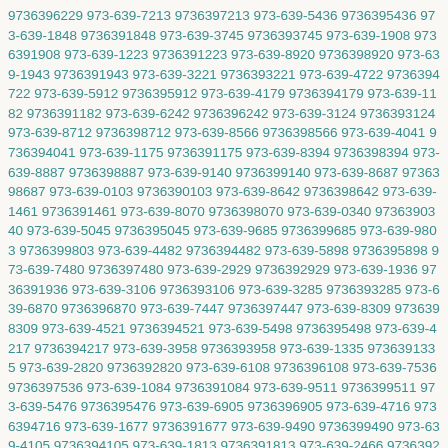9736396229 973-639-7213 9736397213 973-639-5436 9736395436 973-639-1848 9736391848 973-639-3745 9736393745 973-639-1908 9736391908 973-639-1223 9736391223 973-639-8920 9736398920 973-639-1943 9736391943 973-639-3221 9736393221 973-639-4722 9736394722 973-639-5912 9736395912 973-639-4179 9736394179 973-639-1182 9736391182 973-639-6242 9736396242 973-639-3124 9736393124 973-639-8712 9736398712 973-639-8566 9736398566 973-639-4041 9736394041 973-639-1175 9736391175 973-639-8394 9736398394 973-639-8887 9736398887 973-639-9140 9736399140 973-639-8687 9736398687 973-639-0103 9736390103 973-639-8642 9736398642 973-639-1461 9736391461 973-639-8070 9736398070 973-639-0340 9736390340 973-639-5045 9736395045 973-639-9685 9736399685 973-639-9803 9736399803 973-639-4482 9736394482 973-639-5898 9736395898 973-639-7480 9736397480 973-639-2929 9736392929 973-639-1936 9736391936 973-639-3106 9736393106 973-639-3285 9736393285 973-639-6870 9736396870 973-639-7447 9736397447 973-639-8309 9736398309 973-639-4521 9736394521 973-639-5498 9736395498 973-639-4217 9736394217 973-639-3958 9736393958 973-639-1335 9736391335 973-639-2820 9736392820 973-639-6108 9736396108 973-639-7536 9736397536 973-639-1084 9736391084 973-639-9511 9736399511 973-639-5476 9736395476 973-639-6905 9736396905 973-639-4716 9736394716 973-639-1677 9736391677 973-639-9490 9736399490 973-639-4105 9736394105 973-639-1813 9736391813 973-639-2466 9736392466 973-639-1895 9736391895 973-639-8217 9736398217 973-639-6415 9736396415 973-639-6630 9736396630 973-639-3645 9736393645 973-639-5344 9736395344 973-639-8261 9736398261 973-639-9850 9736399850 973-